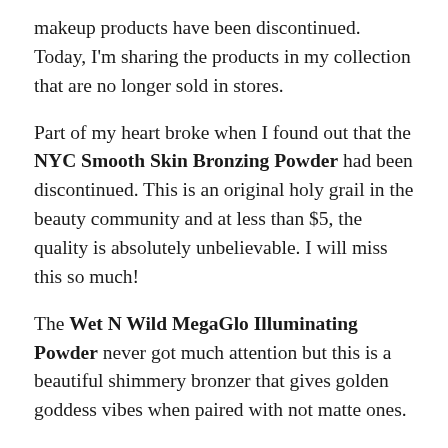makeup products have been discontinued. Today, I'm sharing the products in my collection that are no longer sold in stores.
Part of my heart broke when I found out that the NYC Smooth Skin Bronzing Powder had been discontinued. This is an original holy grail in the beauty community and at less than $5, the quality is absolutely unbelievable. I will miss this so much!
The Wet N Wild MegaGlo Illuminating Powder never got much attention but this is a beautiful shimmery bronzer that gives golden goddess vibes when paired with not matte ones.